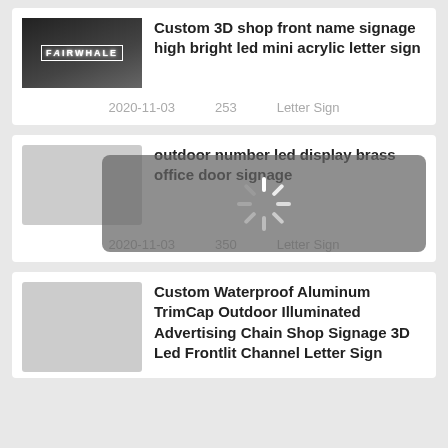[Figure (photo): FAIRWHALE illuminated shop front sign at night]
Custom 3D shop front name signage high bright led mini acrylic letter sign
2020-11-03    253    Letter Sign
[Figure (other): Loading spinner overlay on a product listing card for outdoor number led display brass office door signage]
outdoor number led display brass office door signage
2020-11-03    350    Letter Sign
Custom Waterproof Aluminum TrimCap Outdoor Illuminated Advertising Chain Shop Signage 3D Led Frontlit Channel Letter Sign